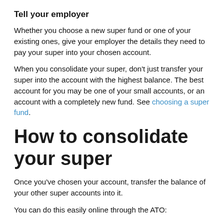Tell your employer
Whether you choose a new super fund or one of your existing ones, give your employer the details they need to pay your super into your chosen account.
When you consolidate your super, don't just transfer your super into the account with the highest balance. The best account for you may be one of your small accounts, or an account with a completely new fund. See choosing a super fund.
How to consolidate your super
Once you've chosen your account, transfer the balance of your other super accounts into it.
You can do this easily online through the ATO: